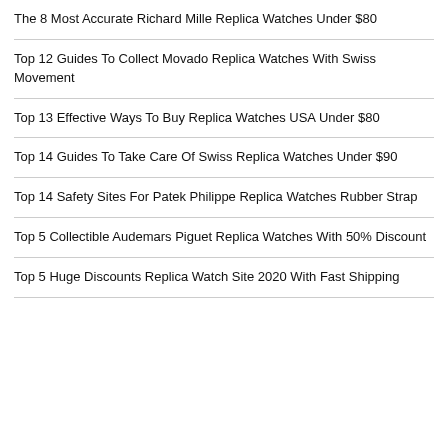The 8 Most Accurate Richard Mille Replica Watches Under $80
Top 12 Guides To Collect Movado Replica Watches With Swiss Movement
Top 13 Effective Ways To Buy Replica Watches USA Under $80
Top 14 Guides To Take Care Of Swiss Replica Watches Under $90
Top 14 Safety Sites For Patek Philippe Replica Watches Rubber Strap
Top 5 Collectible Audemars Piguet Replica Watches With 50% Discount
Top 5 Huge Discounts Replica Watch Site 2020 With Fast Shipping